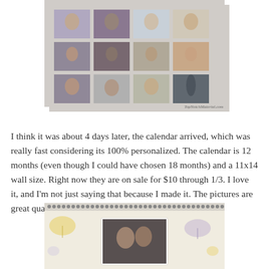[Figure (photo): A printed photo collage sheet showing a 4x3 grid of 12 personal photos of children and adults, photographed on a white background. A watermark reads 'TopNotchMaterial.com' in the bottom right.]
I think it was about 4 days later, the calendar arrived, which was really fast considering its 100% personalized. The calendar is 12 months (even though I could have chosen 18 months) and a 11x14 wall size. Right now they are on sale for $10 through 1/3. I love it, and I'm not just saying that because I made it. The pictures are great quality and the paper they use is super sturdy
[Figure (photo): A personalized wall calendar showing the top binding with spiral coil, decorative umbrella pattern background in yellow and purple/lavender tones, with a personal photo in the center.]